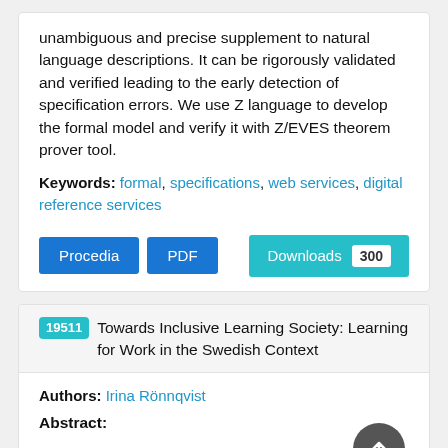unambiguous and precise supplement to natural language descriptions. It can be rigorously validated and verified leading to the early detection of specification errors. We use Z language to develop the formal model and verify it with Z/EVES theorem prover tool.
Keywords: formal, specifications, web services, digital reference services
Procedia | PDF | Downloads 300
19511 Towards Inclusive Learning Society: Learning for Work in the Swedish Context
Authors: Irina Rönnqvist
Abstract: